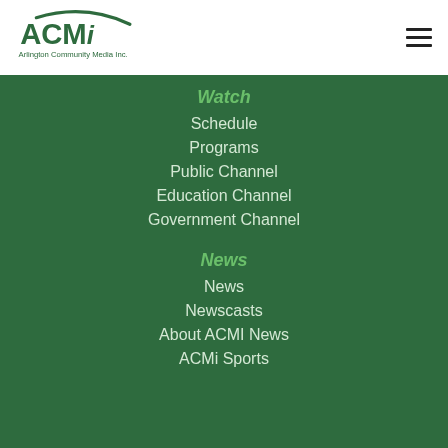[Figure (logo): ACMi Arlington Community Media Inc. logo — green swoosh and ACMi text in green]
Watch
Schedule
Programs
Public Channel
Education Channel
Government Channel
News
News
Newscasts
About ACMI News
ACMi Sports